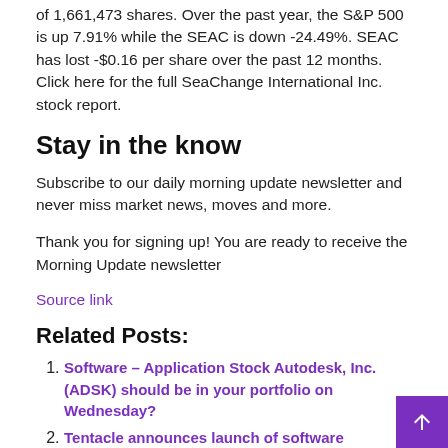of 1,661,473 shares. Over the past year, the S&P 500 is up 7.91% while the SEAC is down -24.49%. SEAC has lost -$0.16 per share over the past 12 months. Click here for the full SeaChange International Inc. stock report.
Stay in the know
Subscribe to our daily morning update newsletter and never miss market news, moves and more.
Thank you for signing up! You are ready to receive the Morning Update newsletter
Source link
Related Posts:
Software – Application Stock Autodesk, Inc. (ADSK) should be in your portfolio on Wednesday?
Tentacle announces launch of software application to modernize archaic and ineffective methods of information security industry